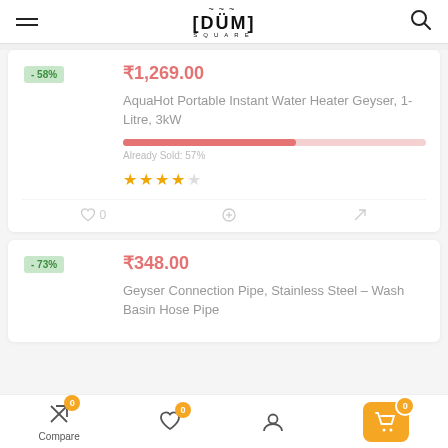[DUM] SQUARE
- 58%  ₹1,269.00  AquaHot Portable Instant Water Heater Geyser, 1-Litre, 3kW  Already Sold: 57%  ★★★★☆
- 73%  ₹348.00  Geyser Connection Pipe, Stainless Steel – Wash Basin Hose Pipe
Compare 0  ♡ 0  Account  Cart 0